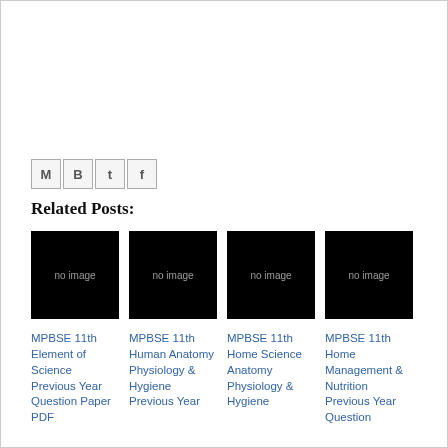[Figure (other): Share icons row: Gmail (M), Blogger (B), Twitter (t), Facebook (f)]
Related Posts:
[Figure (other): No image placeholder thumbnail (black box with 'no image' text)]
MPBSE 11th Element of Science Previous Year Question Paper PDF
[Figure (other): No image placeholder thumbnail (black box with 'no image' text)]
MPBSE 11th Human Anatomy Physiology & Hygiene Previous Year
[Figure (other): No image placeholder thumbnail (black box with 'no image' text)]
MPBSE 11th Home Science Anatomy Physiology & Hygiene
[Figure (other): No image placeholder thumbnail (black box with 'no image' text)]
MPBSE 11th Home Management & Nutrition Previous Year Question